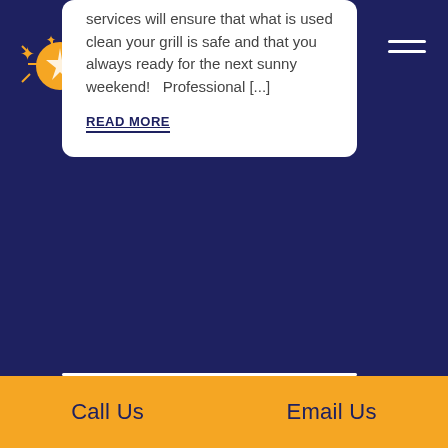[Figure (logo): Orange circular logo with gold sparkle/star decorative elements on dark navy background]
services will ensure that what is used clean your grill is safe and that you always ready for the next sunny weekend!  Professional [...]
READ MORE
Call Us   Email Us